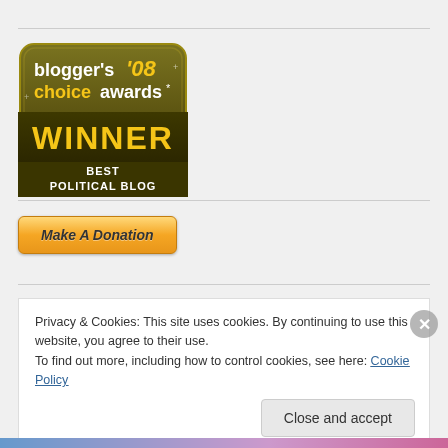[Figure (logo): Blogger's Choice Awards 2008 - Winner Best Political Blog badge. Dark olive/gold rounded rectangle badge with text: blogger's '08 choice awards* WINNER BEST POLITICAL BLOG]
[Figure (other): Make A Donation button - orange/gold rounded rectangle button with italic bold text 'Make A Donation']
Privacy & Cookies: This site uses cookies. By continuing to use this website, you agree to their use.
To find out more, including how to control cookies, see here: Cookie Policy
Close and accept